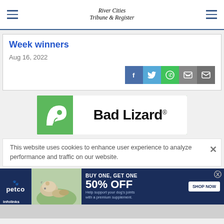River Cities Tribune & Register
Week winners
Aug 16, 2022
[Figure (other): Bad Lizard advertisement banner with green background and logo]
This website uses cookies to enhance user experience to analyze performance and traffic on our website.
[Figure (other): Petco advertisement: BUY ONE, GET ONE 50% OFF - Help support your dog's joints with a premium supplement. SHOP NOW. infolinks label.]